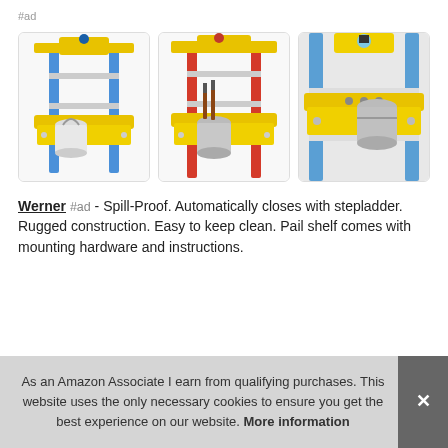#ad
[Figure (photo): Three product photos of Werner ladder pail shelf accessories shown on stepladders. Left: yellow shelf with paint bucket on blue fiberglass ladder. Center: yellow shelf with paint can and brushes on red fiberglass ladder. Right: close-up of yellow shelf on blue ladder with paint can.]
Werner #ad - Spill-Proof. Automatically closes with stepladder. Rugged construction. Easy to keep clean. Pail shelf comes with mounting hardware and instructions.
As an Amazon Associate I earn from qualifying purchases. This website uses the only necessary cookies to ensure you get the best experience on our website. More information